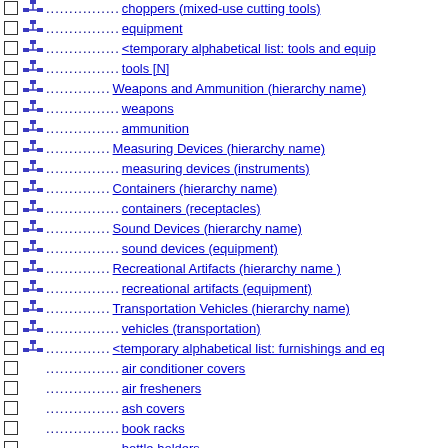choppers (mixed-use cutting tools) [partial/cut off at top]
equipment
<temporary alphabetical list: tools and equip...
tools [N]
Weapons and Ammunition (hierarchy name)
weapons
ammunition
Measuring Devices (hierarchy name)
measuring devices (instruments)
Containers (hierarchy name)
containers (receptacles)
Sound Devices (hierarchy name)
sound devices (equipment)
Recreational Artifacts (hierarchy name )
recreational artifacts (equipment)
Transportation Vehicles (hierarchy name)
vehicles (transportation)
<temporary alphabetical list: furnishings and eq...
air conditioner covers
air fresheners
ash covers
book racks
bottle holders
bug zappers